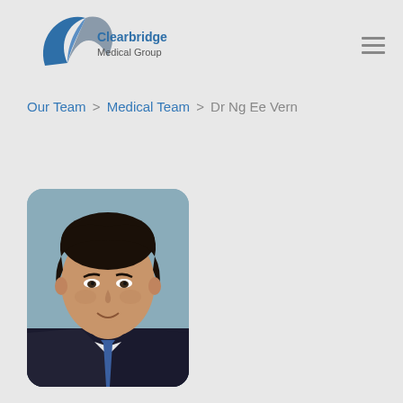[Figure (logo): Clearbridge Medical Group logo with stylized blue and grey arc/wing shape and text 'Clearbridge Medical Group']
Our Team > Medical Team > Dr Ng Ee Vern
[Figure (photo): Professional headshot photo of Dr Ng Ee Vern, an Asian male doctor wearing a dark suit and tie, photographed against a light blue background, image has rounded top-right corner]